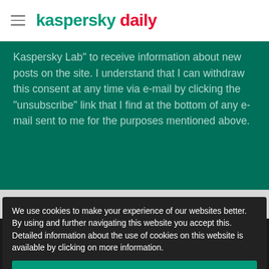kaspersky daily
Kaspersky Lab" to receive information about new posts on the site. I understand that I can withdraw this consent at any time via e-mail by clicking the "unsubscribe" link that I find at the bottom of any e-mail sent to me for the purposes mentioned above.
Home Products
We use cookies to make your experience of our websites better. By using and further navigating this website you accept this. Detailed information about the use of cookies on this website is available by clicking on more information.
ACCEPT AND CLOSE
Kaspersky Android Antivirus
Kaspersky Total Security